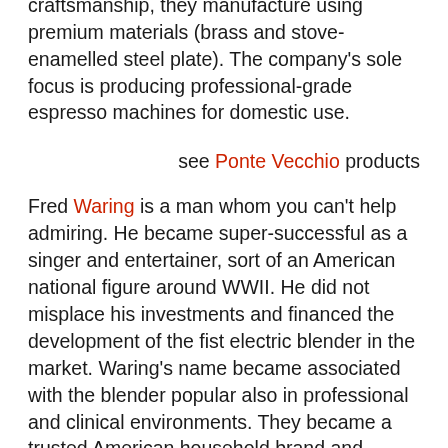products build on the heritage of successful SAMA machines. Proud of their craftsmanship, they manufacture using premium materials (brass and stove-enamelled steel plate). The company's sole focus is producing professional-grade espresso machines for domestic use.
see Ponte Vecchio products
Fred Waring is a man whom you can't help admiring. He became super-successful as a singer and entertainer, sort of an American national figure around WWII. He did not misplace his investments and financed the development of the fist electric blender in the market. Waring's name became associated with the blender popular also in professional and clinical environments. They became a trusted American household brand and